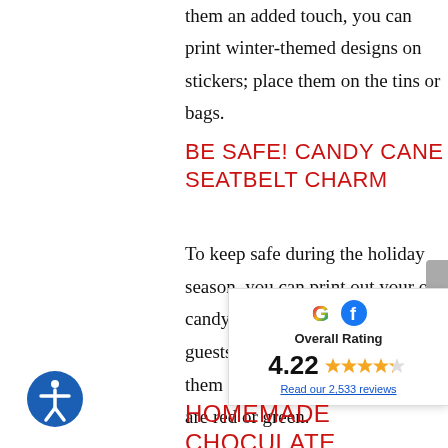them an added touch, you can print winter-themed designs on stickers; place them on the tins or bags.
BE SAFE! CANDY CANE SEATBELT CHARM
To keep safe during the holiday season, you can print out your own candy cane seatbelt charms for guests to wear. You ca them attached to cut are red or green.
[Figure (infographic): Google and Facebook combined overall rating widget showing 4.22 stars out of 5 based on 2,533 reviews]
HOMEMADE CHOcULATE